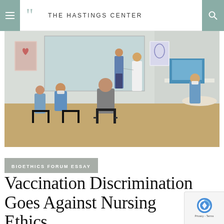THE HASTINGS CENTER
[Figure (photo): Medical waiting room scene with healthcare workers and patients wearing masks, doctor in white coat consulting with standing colleague, nurse at computer workstation on right]
BIOETHICS FORUM ESSAY
Vaccination Discrimination Goes Against Nursing Ethics